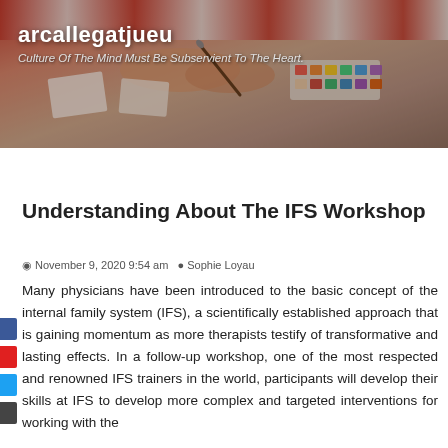[Figure (photo): Banner photo showing hands painting/drawing with watercolors on a desk, with art supplies visible]
arcallegatjueu
Culture Of The Mind Must Be Subservient To The Heart.
Understanding About The IFS Workshop
© November 9, 2020 9:54 am  Sophie Loyau
Many physicians have been introduced to the basic concept of the internal family system (IFS), a scientifically established approach that is gaining momentum as more therapists testify of transformative and lasting effects. In a follow-up workshop, one of the most respected and renowned IFS trainers in the world, participants will develop their skills at IFS to develop more complex and targeted interventions for working with the